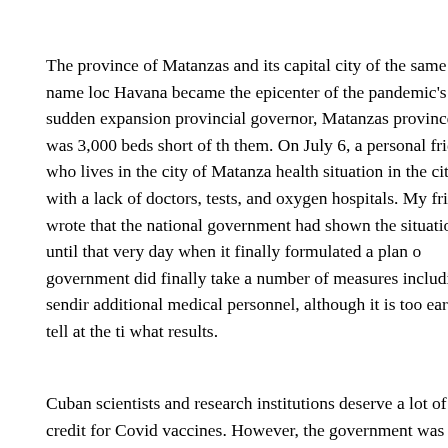The province of Matanzas and its capital city of the same name loc Havana became the epicenter of the pandemic's sudden expansion provincial governor, Matanzas province was 3,000 beds short of th them. On July 6, a personal friend who lives in the city of Matanza health situation in the city with a lack of doctors, tests, and oxygen hospitals. My friend wrote that the national government had shown the situation until that very day when it finally formulated a plan o government did finally take a number of measures including sendir additional medical personnel, although it is too early to tell at the ti what results.
Cuban scientists and research institutions deserve a lot of credit for Covid vaccines. However, the government was responsible for the in immunizing people on the island, made worse by its decision to vaccines from abroad nor join the 190-nation strong COVAX (Cov sponsored by several international organizations including the Wor an organization with which the Cuban government has good relatio population has been fully vaccinated and 30% has received at leas